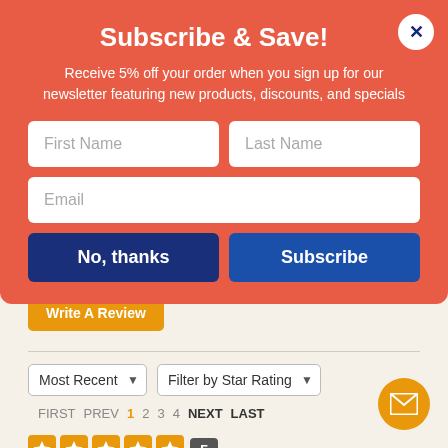Subscribe & Save!
Receive 5% off your order when you sign up for our newsletter featuring new products, discounts, and specials
[Figure (screenshot): Newsletter subscription modal form with First Name, Last Name, Email fields and No, thanks / Subscribe buttons on a coral/red background with a close button (X)]
Write A Review
Most Recent  Filter by Star Rating
FIRST  PREV  1  2  3  4  NEXT  LAST
5 stars rating badge — 5
Does what it needs to do